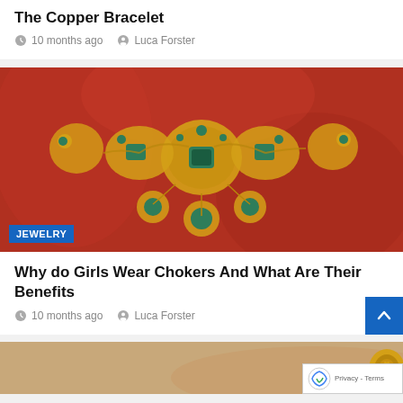The Copper Bracelet
10 months ago  Luca Forster
[Figure (photo): Ornate gold jewelry piece with green gemstones on a red velvet background, labeled JEWELRY]
Why do Girls Wear Chokers And What Are Their Benefits
10 months ago  Luca Forster
[Figure (photo): Partial view of a person's hand/arm with a gold ring and bracelet]